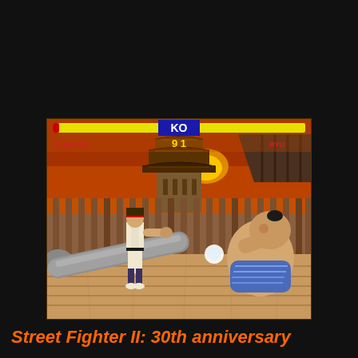[Figure (screenshot): Street Fighter II gameplay screenshot showing Ryu (left) performing a move against E. Honda (right, large sumo wrestler in blue mawashi). The stage is Honda's rooftop stage at sunset with an orange sky and Japanese castle in the background. The HUD shows health bars, 'KO' text, and timer reading '91'. E. Honda name on left, RYU on right.]
Street Fighter II: 30th anniversary